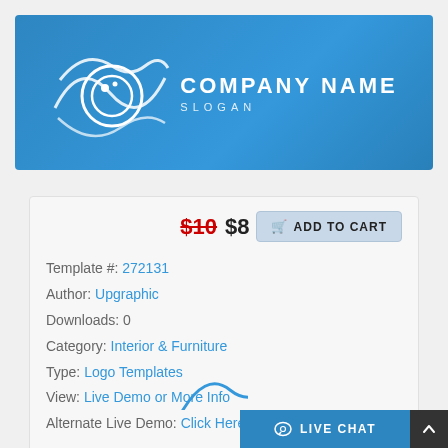[Figure (logo): Blue banner with eye-shaped swirl logo and white text reading COMPANY NAME / SLOGAN]
$10 $8 ADD TO CART
Template #: 272131
Author: Upgraphic
Downloads: 0
Category: Interior & Furniture
Type: Logo Templates
View: Live Demo or More Info
Alternate Live Demo: Click Here
LIVE CHAT